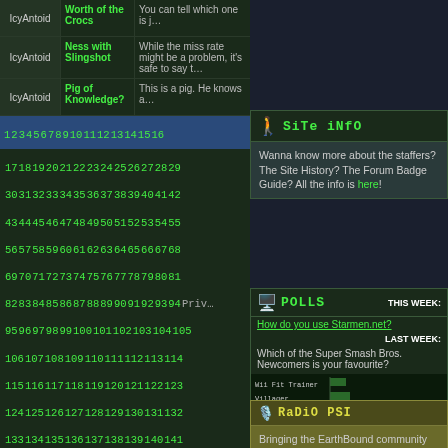| User | Item | Review |
| --- | --- | --- |
| IcyAntoid | Worth of the Crocs | You can tell which one is j… |
| IcyAntoid | Ness with Slingshot | While the miss rate might be a problem, it's safe to say th… |
| IcyAntoid | Pig of Knowledge? | This is a pig. He knows a… |
1 2 3 4 5 6 7 8 9 10 11 12 13 14 15 16
17 18 19 20 21 22 23 24 25 26 27 28 29 30 31 32 33 34 35 36 37 38 39 40 41 42 43 44 45 46 47 48 49 50 51 52 53 54 55 56 57 58 59 60 61 62 63 64 65 66 67 68 69 70 71 72 73 74 75 76 77 78 79 80 81 82 83 84 85 86 87 88 89 90 91 92 93 94 95 96 97 98 99 100 101 102 103 104 105 106 107 108 109 110 111 112 113 114 115 116 117 118 119 120 121 122 123 124 125 126 127 128 129 130 131 132 133 134 135 136 137 138 139 140 141 142 143 144 145 146 147 148 149 150 151 152 153 154 155 156 157 158 159 160 161 162 163 164
Site Info
Wanna know more about the staffers? The Site History? The Forum Badge Guide? All the info is here!
Polls
THIS WEEK:
How do you use Starmen.net?
LAST WEEK:
Which of the Super Smash Bros. Newcomers is your favourite?
[Figure (bar-chart): Super Smash Bros. Newcomers poll]
Radio PSI
Bringing the EarthBound community together through the magic of music.